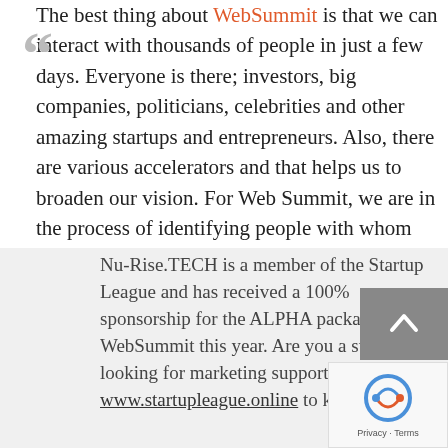The best thing about WebSummit is that we can interact with thousands of people in just a few days. Everyone is there; investors, big companies, politicians, celebrities and other amazing startups and entrepreneurs. Also, there are various accelerators and that helps us to broaden our vision. For Web Summit, we are in the process of identifying people with whom we want to talk with and are subsequently scheduling informal meetings with them.
Nu-Rise.TECH is a member of the Startup League and has received a 100% sponsorship for the ALPHA package at WebSummit this year. Are you a startup looking for marketing support? Visit www.startupleague.online to know more.